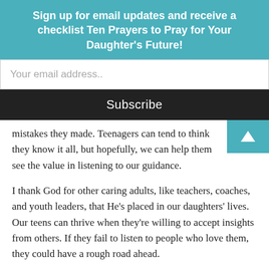Sign up for email updates and receive a checklist Ten Prayers to Pray for Your Daughter's Future!
Your email address..
Subscribe
mistakes they made. Teenagers can tend to think they know it all, but hopefully, we can help them see the value in listening to our guidance.
I thank God for other caring adults, like teachers, coaches, and youth leaders, that He’s placed in our daughters’ lives. Our teens can thrive when they’re willing to accept insights from others. If they fail to listen to people who love them, they could have a rough road ahead.
2. Think before you speak.
“He that keepeth his mouth keepeth his life; but